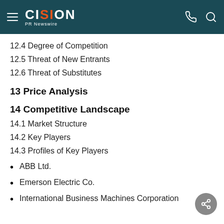CISION PR Newswire
12.4 Degree of Competition
12.5 Threat of New Entrants
12.6 Threat of Substitutes
13 Price Analysis
14 Competitive Landscape
14.1 Market Structure
14.2 Key Players
14.3 Profiles of Key Players
ABB Ltd.
Emerson Electric Co.
International Business Machines Corporation